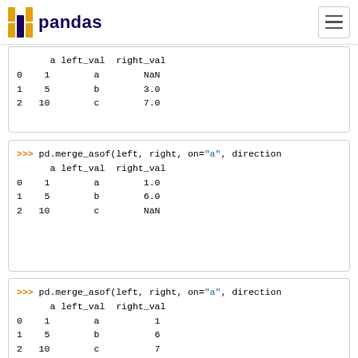pandas
|  | a | left_val | right_val |
| --- | --- | --- | --- |
| 0 | 1 | a | NaN |
| 1 | 5 | b | 3.0 |
| 2 | 10 | c | 7.0 |
|  | a | left_val | right_val |
| --- | --- | --- | --- |
| 0 | 1 | a | 1.0 |
| 1 | 5 | b | 6.0 |
| 2 | 10 | c | NaN |
|  | a | left_val | right_val |
| --- | --- | --- | --- |
| 0 | 1 | a | 1 |
| 1 | 5 | b | 6 |
| 2 | 10 | c | 7 |
We can use indexed DataFrames as well.